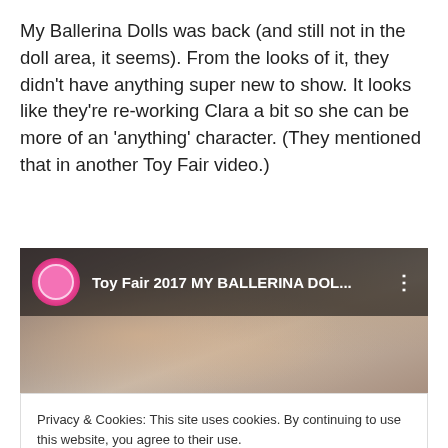My Ballerina Dolls was back (and still not in the doll area, it seems). From the looks of it, they didn't have anything super new to show. It looks like they're re-working Clara a bit so she can be more of an 'anything' character. (They mentioned that in another Toy Fair video.)
[Figure (screenshot): YouTube video thumbnail showing 'Toy Fair 2017 MY BALLERINA DOL...' with a channel icon on the left and three-dot menu on the right, against a blurred doll background]
Privacy & Cookies: This site uses cookies. By continuing to use this website, you agree to their use.
To find out more, including how to control cookies, see here: Cookie Policy